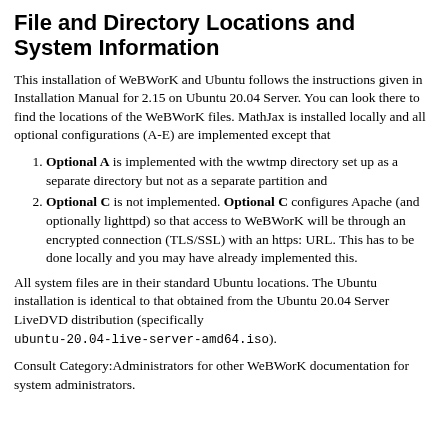File and Directory Locations and System Information
This installation of WeBWorK and Ubuntu follows the instructions given in Installation Manual for 2.15 on Ubuntu 20.04 Server. You can look there to find the locations of the WeBWorK files. MathJax is installed locally and all optional configurations (A-E) are implemented except that
Optional A is implemented with the wwtmp directory set up as a separate directory but not as a separate partition and
Optional C is not implemented. Optional C configures Apache (and optionally lighttpd) so that access to WeBWorK will be through an encrypted connection (TLS/SSL) with an https: URL. This has to be done locally and you may have already implemented this.
All system files are in their standard Ubuntu locations. The Ubuntu installation is identical to that obtained from the Ubuntu 20.04 Server LiveDVD distribution (specifically ubuntu-20.04-live-server-amd64.iso).
Consult Category:Administrators for other WeBWorK documentation for system administrators.